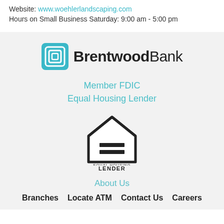Website: www.woehlerlandscaping.com
Hours on Small Business Saturday: 9:00 am - 5:00 pm
[Figure (logo): Brentwood Bank logo with teal square icon and text BrentwoodBank]
Member FDIC
Equal Housing Lender
[Figure (logo): Equal Housing Lender logo showing a house outline with equals sign inside, with text EQUAL HOUSING LENDER below]
About Us
Branches   Locate ATM   Contact Us   Careers